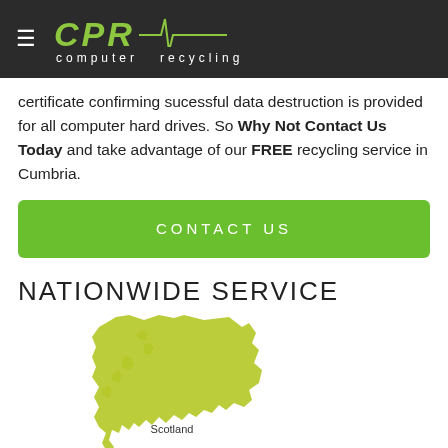CPR computer recycling
certificate confirming sucessful data destruction is provided for all computer hard drives. So Why Not Contact Us Today and take advantage of our FREE recycling service in Cumbria.
CONTACT US
NATIONWIDE SERVICE
[Figure (map): Map of the United Kingdom showing regions including Scotland (highlighted in olive/yellow-green) and North (partially visible at bottom, highlighted in green), with other regions shown in grey and brown.]